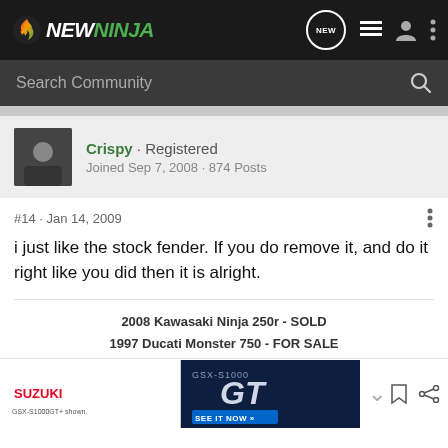NEWNINJA
Search Community
Crispy · Registered
Joined Sep 7, 2008 · 874 Posts
#14 · Jan 14, 2009
i just like the stock fender. If you do remove it, and do it right like you did then it is alright.
2008 Kawasaki Ninja 250r - SOLD
1997 Ducati Monster 750 - FOR SALE
[Figure (photo): Suzuki GSX-S1000GT advertisement banner with motorcycle image and 'SEE IT NOW' call to action]